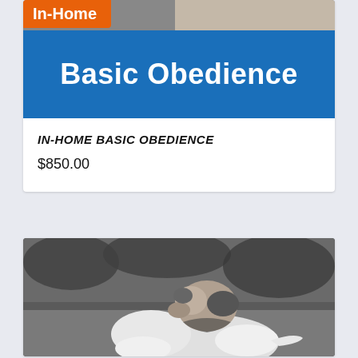[Figure (photo): Product banner image showing 'In-Home' orange tag and 'Basic Obedience' text on blue background with a dog in the background]
IN-HOME BASIC OBEDIENCE
$850.00
[Figure (photo): Black and white photo of two dogs interacting outdoors, one appears to be a Jack Russell Terrier with a harness]